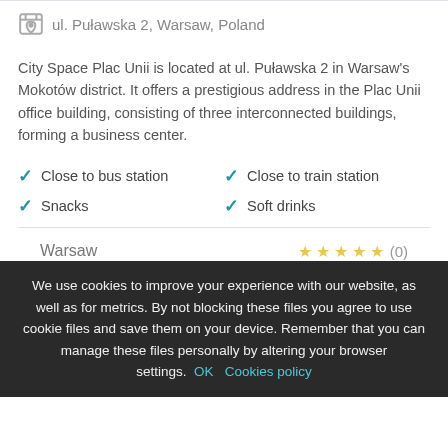ul. Puławska 2, Warsaw, Poland
City Space Plac Unii is located at ul. Puławska 2 in Warsaw's Mokotów district. It offers a prestigious address in the Plac Unii office building, consisting of three interconnected buildings, forming a business center.
Close to bus station
Close to train station
Snacks
Soft drinks
Warsaw
☆☆☆☆☆ (0)
Contact us
+48 729 913 686
[Figure (photo): Three side-by-side photos of a building exterior — glass and steel office building facades, with a tree visible on the right]
We use cookies to improve your experience with our website, as well as for metrics. By not blocking these files you agree to use cookie files and save them on your device. Remember that you can manage these files personally by altering your browser settings. OK Cookies policy